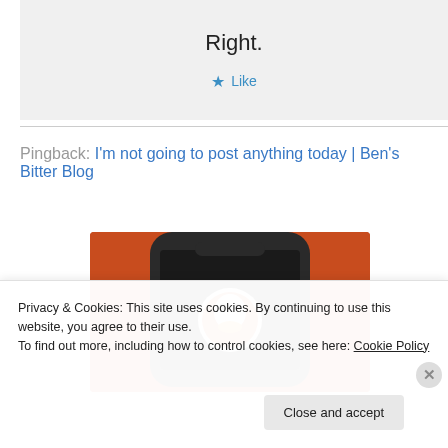Right.
★ Like
Pingback: I'm not going to post anything today | Ben's Bitter Blog
[Figure (photo): DuckDuckGo app icon displayed on a phone screen against an orange background]
Privacy & Cookies: This site uses cookies. By continuing to use this website, you agree to their use. To find out more, including how to control cookies, see here: Cookie Policy
Close and accept